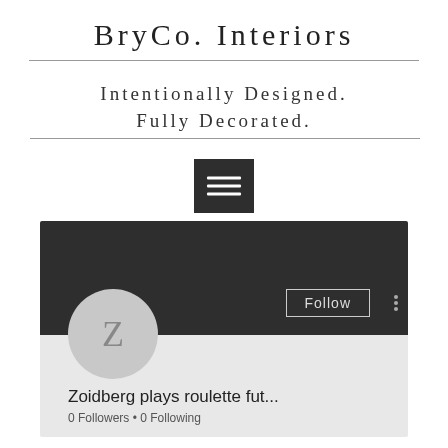BryCo. Interiors
Intentionally Designed. Fully Decorated.
[Figure (screenshot): A mobile app profile page screenshot showing a dark header with a Follow button, a circular avatar with letter Z, the username 'Zoidberg plays roulette fut...' and stats '0 Followers • 0 Following']